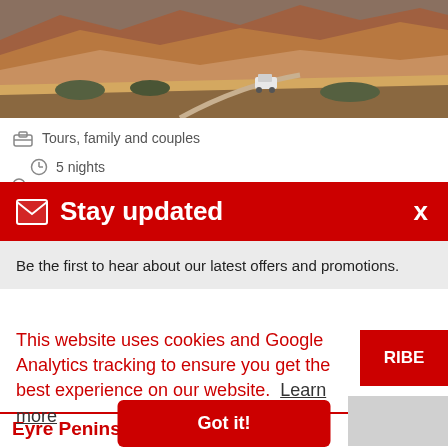[Figure (photo): Aerial/landscape photo of red rocky mountains with a white van on a dirt road winding through the terrain]
Tours, family and couples
5 nights
[Figure (other): Stay updated popup banner with red header containing envelope icon and 'Stay updated' text with X close button, and gray body with text 'Be the first to hear about our latest offers and promotions.']
This website uses cookies and Google Analytics tracking to ensure you get the best experience on our website.  Learn more
Got it!
Eyre Peninsula Escape
90,449